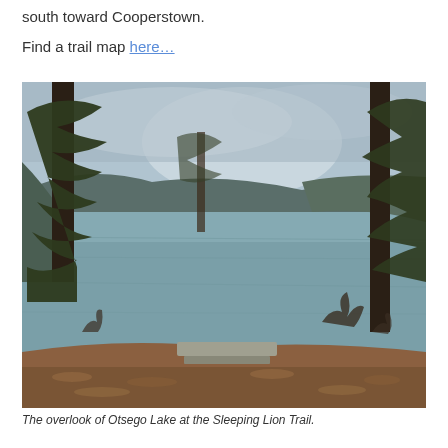south toward Cooperstown.
Find a trail map here…
[Figure (photo): A scenic overlook of Otsego Lake viewed through pine trees at the Sleeping Lion Trail. A stone bench sits in the foreground on a leaf-covered ground. The lake stretches into the distance with hills and an overcast sky.]
The overlook of Otsego Lake at the Sleeping Lion Trail.